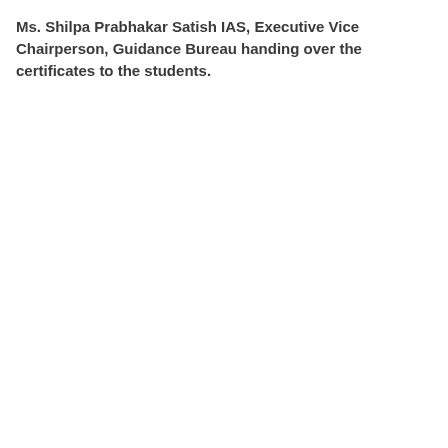Ms. Shilpa Prabhakar Satish IAS, Executive Vice Chairperson, Guidance Bureau handing over the certificates to the students.